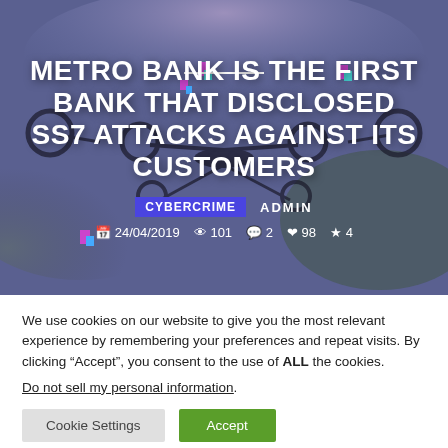[Figure (photo): Hero image with drone/quadcopter silhouette against a purple-blue sky with clouds, overlaid with dark tint and decorative glitch pixel elements]
METRO BANK IS THE FIRST BANK THAT DISCLOSED SS7 ATTACKS AGAINST ITS CUSTOMERS
CYBERCRIME  ADMIN
24/04/2019  101  2  98  4
We use cookies on our website to give you the most relevant experience by remembering your preferences and repeat visits. By clicking “Accept”, you consent to the use of ALL the cookies.
Do not sell my personal information.
Cookie Settings  Accept